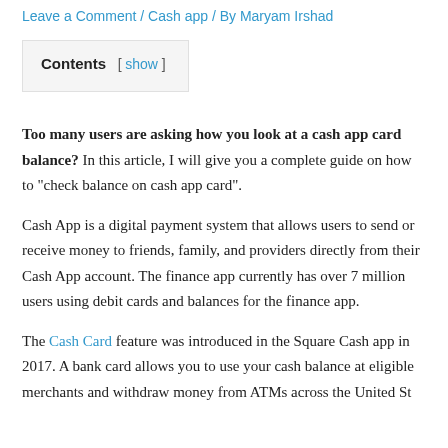Leave a Comment / Cash app / By Maryam Irshad
| Contents | [show] |
| --- | --- |
Too many users are asking how you look at a cash app card balance? In this article, I will give you a complete guide on how to “check balance on cash app card”.
Cash App is a digital payment system that allows users to send or receive money to friends, family, and providers directly from their Cash App account. The finance app currently has over 7 million users using debit cards and balances for the finance app.
The Cash Card feature was introduced in the Square Cash app in 2017. A bank card allows you to use your cash balance at eligible merchants and withdraw money from ATMs across the United St...